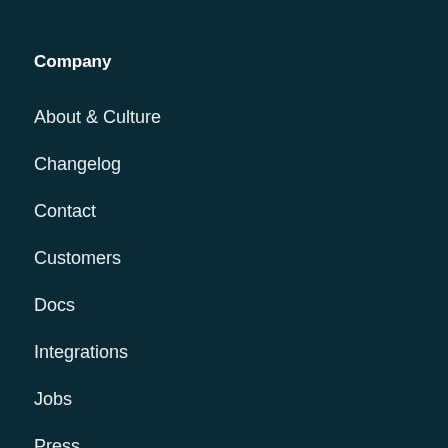Company
About & Culture
Changelog
Contact
Customers
Docs
Integrations
Jobs
Press
Pricing